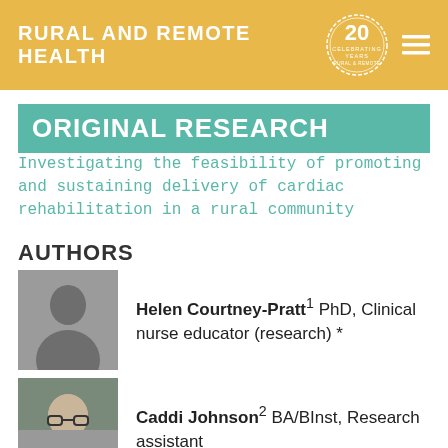RURAL AND REMOTE HEALTH
ORIGINAL RESEARCH
Investigating the feasibility of promoting and sustaining delivery of cardiac rehabilitation in a rural community
AUTHORS
Helen Courtney-Pratt1 PhD, Clinical nurse educator (research) *
Caddi Johnson2 BA/BInst, Research assistant